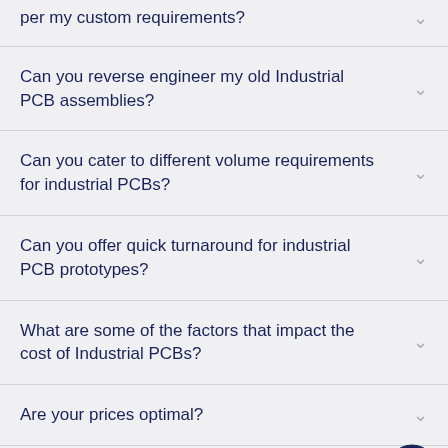per my custom requirements?
Can you reverse engineer my old Industrial PCB assemblies?
Can you cater to different volume requirements for industrial PCBs?
Can you offer quick turnaround for industrial PCB prototypes?
What are some of the factors that impact the cost of Industrial PCBs?
Are your prices optimal?
Is your customer service robust?